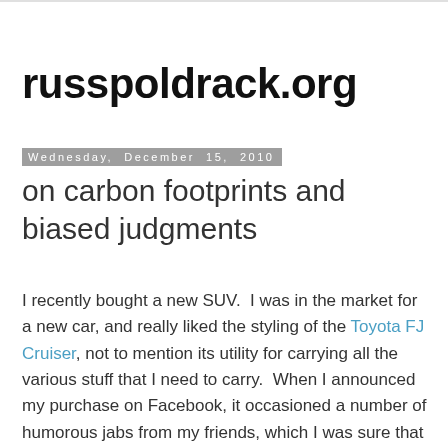russpoldrack.org
Wednesday, December 15, 2010
on carbon footprints and biased judgments
I recently bought a new SUV.  I was in the market for a new car, and really liked the styling of the Toyota FJ Cruiser, not to mention its utility for carrying all the various stuff that I need to carry.  When I announced my purchase on Facebook, it occasioned a number of humorous jabs from my friends, which I was sure that I deserved; after all, I had just bought a monstrous gas-guzzler (17 MPG in town, 21 on the highway)!